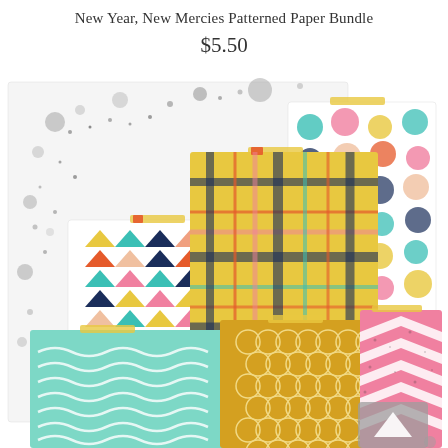New Year, New Mercies Patterned Paper Bundle
$5.50
[Figure (photo): Bundle of colorful patterned paper sheets arranged in a fan/stack layout. Papers include: triangles pattern (multicolor on white), plaid/crosshatch pattern (mustard/navy/pink), polka dots (multicolor on white), chevron (pink/white distressed), moroccan/quatrefoil (mustard/gold), wavy lines (mint green/white), and an ink splatter/watercolor (grey/black on white) background sheet.]